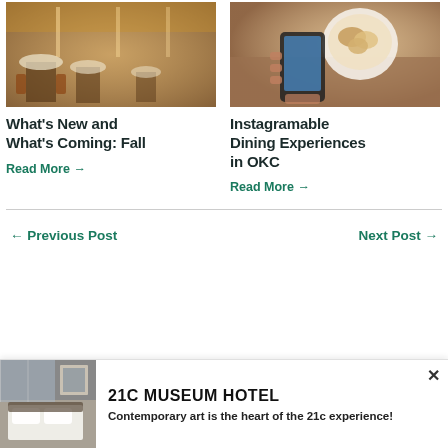[Figure (photo): Interior of an upscale restaurant with wooden decor, set tables with white tablecloths, and warm lighting]
[Figure (photo): Person holding a smartphone taking a photo of a bowl of Asian food (rice and fried items) on a wooden table]
What’s New and What’s Coming: Fall
Read More →
Instagramable Dining Experiences in OKC
Read More →
← Previous Post
Next Post →
[Figure (photo): Hotel room with white bedding, modern furniture, and artwork on the wall]
21C MUSEUM HOTEL
Contemporary art is the heart of the 21c experience!